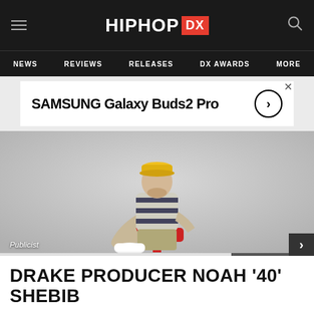HIPHOP DX
NEWS | REVIEWS | RELEASES | DX AWARDS | MORE
[Figure (photo): Advertisement banner: SAMSUNG Galaxy Buds2 Pro with arrow button]
[Figure (photo): Man in yellow cap, striped rugby shirt, khaki pants and white sneakers sitting in a red chair against gray background. Credit: Publicist]
DRAKE PRODUCER NOAH '40' SHEBIB